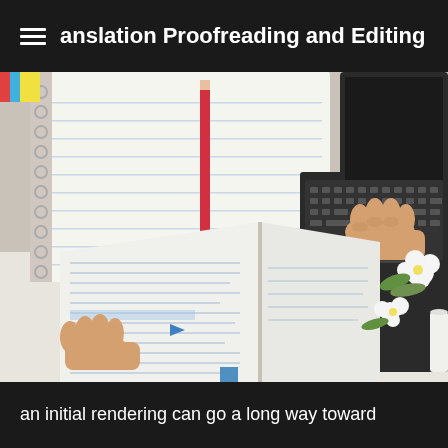anslation Proofreading and Editing
[Figure (photo): Person's hands holding an open book/dictionary next to a laptop keyboard, with a spiral notebook and red pencil visible in the background, and white flowers near the laptop]
an initial rendering can go a long way toward